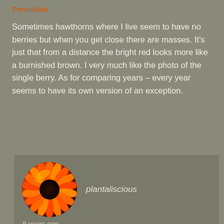Permalink
Sometimes hawthorns where I live seem to have no berries but when you get close there are masses. It's just that from a distance the bright red looks more like a burnished brown. I very much like the photo of the single berry. As for comparing years – every year seems to have its own version of an exception.
[Figure (photo): Circular avatar image of an orange/red flower (gerbera daisy) with dark center, used as user profile picture for plantaliscious]
plantaliscious
8 years ago
Permalink
You're right Lucy, they do appear more brown